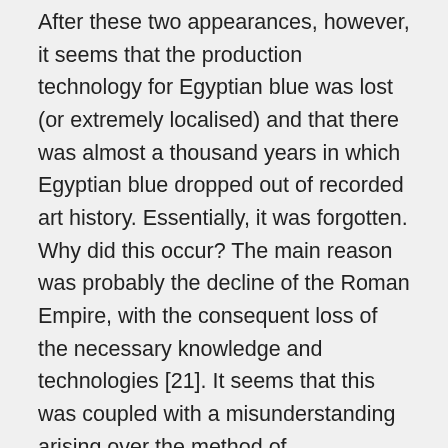After these two appearances, however, it seems that the production technology for Egyptian blue was lost (or extremely localised) and that there was almost a thousand years in which Egyptian blue dropped out of recorded art history. Essentially, it was forgotten. Why did this occur? The main reason was probably the decline of the Roman Empire, with the consequent loss of the necessary knowledge and technologies [21]. It seems that this was coupled with a misunderstanding arising over the method of manufacture described by Vitruvius in De Architectura in the first century BC. Vitrivius had made no specific mention of the need for calcium carbonate (lime), probably because the particular sand used in the samples available to him happened to have the right limestone content. With sand from elsewhere, however, the method he described was totally ineffective, and the knowledge was lost.